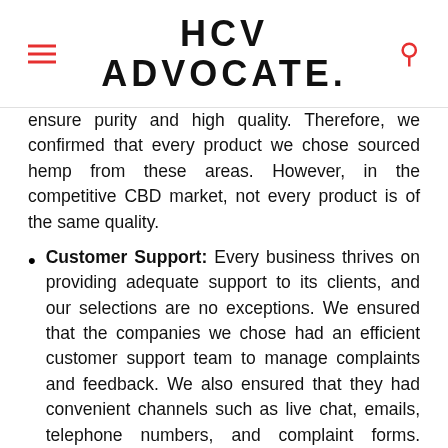HCV ADVOCATE.
ensure purity and high quality. Therefore, we confirmed that every product we chose sourced hemp from these areas. However, in the competitive CBD market, not every product is of the same quality.
Customer Support: Every business thrives on providing adequate support to its clients, and our selections are no exceptions. We ensured that the companies we chose had an efficient customer support team to manage complaints and feedback. We also ensured that they had convenient channels such as live chat, emails, telephone numbers, and complaint forms. Besides the presence of the team and the channels, the support also had to be responsive and helpful.
Return/Refund Policies: The best brands usually